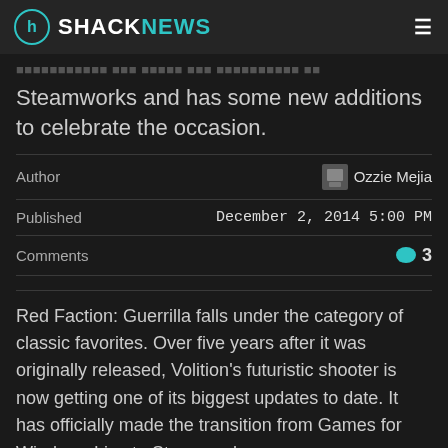SHACKNEWS
Steamworks and has some new additions to celebrate the occasion.
Author   Ozzie Mejia
Published   December 2, 2014 5:00 PM
Comments   3
Red Faction: Guerrilla falls under the category of classic favorites. Over five years after it was originally released, Volition's futuristic shooter is now getting one of its biggest updates to date. It has officially made the transition from Games for Windows Live to Steamworks.